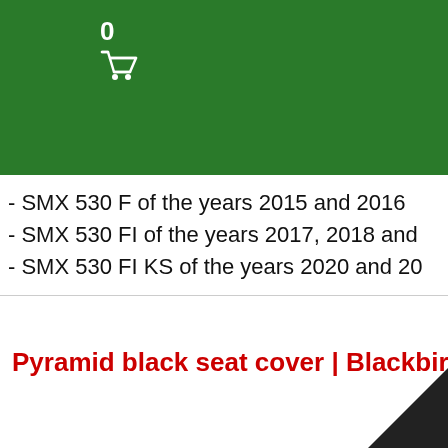0
- SMX 530 F of the years 2015 and 2016
- SMX 530 FI of the years 2017, 2018 and…
- SMX 530 FI KS of the years 2020 and 2…
Pyramid black seat cover | Blackbird Ra…